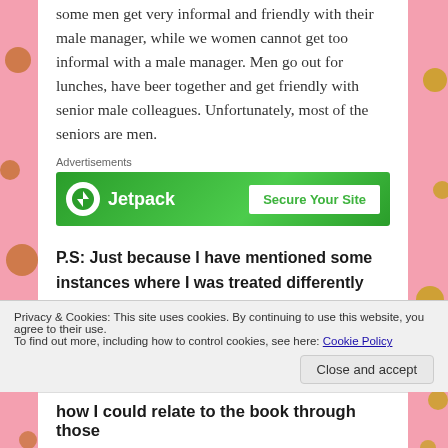some men get very informal and friendly with their male manager, while we women cannot get too informal with a male manager. Men go out for lunches, have beer together and get friendly with senior male colleagues. Unfortunately, most of the seniors are men.
[Figure (other): Jetpack advertisement banner with green background showing Jetpack logo and 'Secure Your Site' button]
P.S: Just because I have mentioned some instances where I was treated differently since I was a woman, it doesn't mean that men get everything
Privacy & Cookies: This site uses cookies. By continuing to use this website, you agree to their use.
To find out more, including how to control cookies, see here: Cookie Policy
how I could relate to the book through those